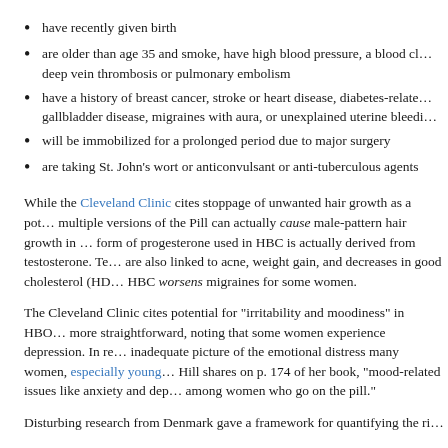have recently given birth
are older than age 35 and smoke, have high blood pressure, a blood clotting disorder, deep vein thrombosis or pulmonary embolism
have a history of breast cancer, stroke or heart disease, diabetes-related complications, gallbladder disease, migraines with aura, or unexplained uterine bleeding
will be immobilized for a prolonged period due to major surgery
are taking St. John’s wort or anticonvulsant or anti-tuberculous agents
While the Cleveland Clinic cites stoppage of unwanted hair growth as a potential benefit, multiple versions of the Pill can actually cause male-pattern hair growth in women because the form of progesterone used in HBC is actually derived from testosterone. Testosterone are also linked to acne, weight gain, and decreases in good cholesterol (HDL). Also, HBC worsens migraines for some women.
The Cleveland Clinic cites potential for “irritability and moodiness” in HBC, others are more straightforward, noting that some women experience depression. In reality, this is an inadequate picture of the emotional distress many women, especially young women… As Hill shares on p. 174 of her book, “mood-related issues like anxiety and depression increase among women who go on the pill.”
Disturbing research from Denmark gave a framework for quantifying the risk…